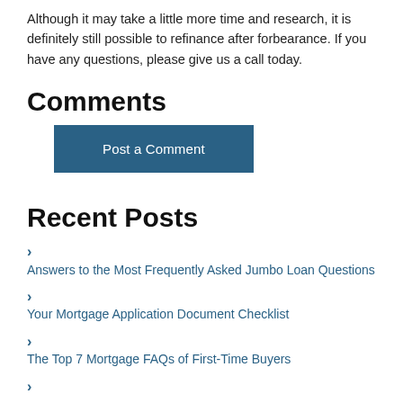Although it may take a little more time and research, it is definitely still possible to refinance after forbearance. If you have any questions, please give us a call today.
Comments
Post a Comment
Recent Posts
Answers to the Most Frequently Asked Jumbo Loan Questions
Your Mortgage Application Document Checklist
The Top 7 Mortgage FAQs of First-Time Buyers